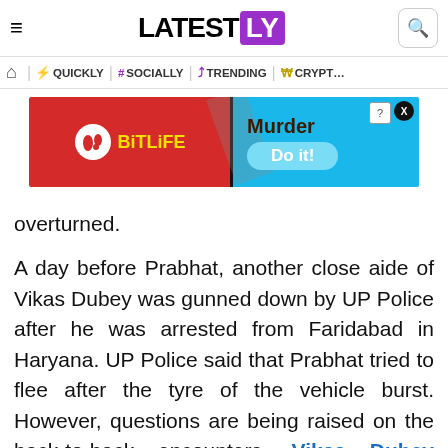LATESTLY
QUICKLY | # SOCIALLY | TRENDING | CRYPTO
[Figure (other): BitLife advertisement banner: red background with BitLife logo on left, image of knife on right side with text 'Murder Do it!' on blue background]
overturned.
A day before Prabhat, another close aide of Vikas Dubey was gunned down by UP Police after he was arrested from Faridabad in Haryana. UP Police said that Prabhat tried to flee after the tyre of the vehicle burst. However, questions are being raised on the back-to-back encounters. Vikas Dubey Encounter: Cattle Herd Caused Accident,